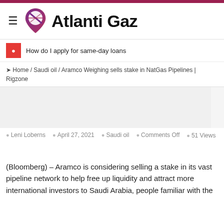Atlanti Gaz
How do I apply for same-day loans
Home / Saudi oil / Aramco Weighing sells stake in NatGas Pipelines | Rigzone
Leni Loberns   April 27, 2021   Saudi oil   Comments Off  51 Views
(Bloomberg) – Aramco is considering selling a stake in its vast pipeline network to help free up liquidity and attract more international investors to Saudi Arabia, people familiar with the